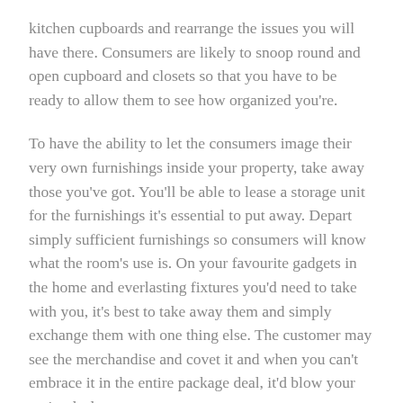kitchen cupboards and rearrange the issues you will have there. Consumers are likely to snoop round and open cupboard and closets so that you have to be ready to allow them to see how organized you're.
To have the ability to let the consumers image their very own furnishings inside your property, take away those you've got. You'll be able to lease a storage unit for the furnishings it's essential to put away. Depart simply sufficient furnishings so consumers will know what the room's use is. On your favourite gadgets in the home and everlasting fixtures you'd need to take with you, it's best to take away them and simply exchange them with one thing else. The customer may see the merchandise and covet it and when you can't embrace it in the entire package deal, it'd blow your entire deal.
Rent knowledgeable in case you are not expert sufficient to make minor repairs to your own home. Patch those with